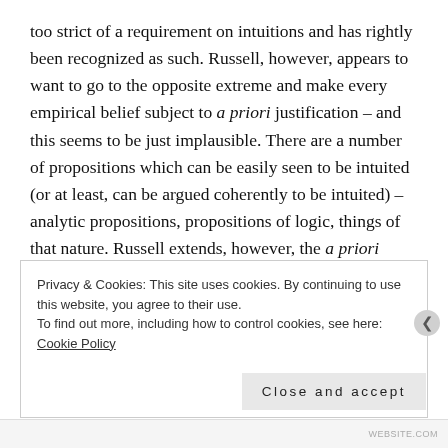too strict of a requirement on intuitions and has rightly been recognized as such. Russell, however, appears to want to go to the opposite extreme and make every empirical belief subject to a priori justification – and this seems to be just implausible. There are a number of propositions which can be easily seen to be intuited (or at least, can be argued coherently to be intuited) – analytic propositions, propositions of logic, things of that nature. Russell extends, however, the a priori justification of analytic propositions to non-analytic propositions and even things that aren't propositions at all, such as
Privacy & Cookies: This site uses cookies. By continuing to use this website, you agree to their use.
To find out more, including how to control cookies, see here: Cookie Policy
Close and accept